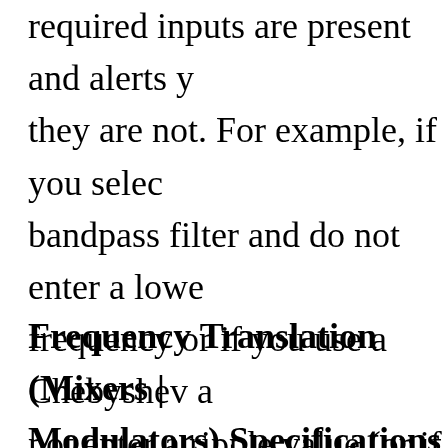required inputs are present and alerts you if they are not. For example, if you select a bandpass filter and do not enter a lower frequency or if you use a Chebyshev and do not enter a ripple value (or if you enter invalid values, like lower frequency greater than upper frequency).
Frequency Translation (Mixers | Modulators) Specifications